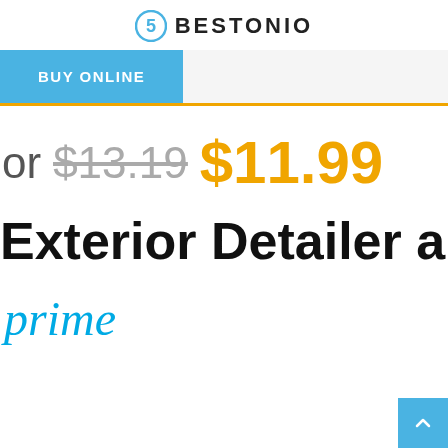BESTONIO
BUY ONLINE
or $13.19 $11.99
Exterior Detailer a
prime